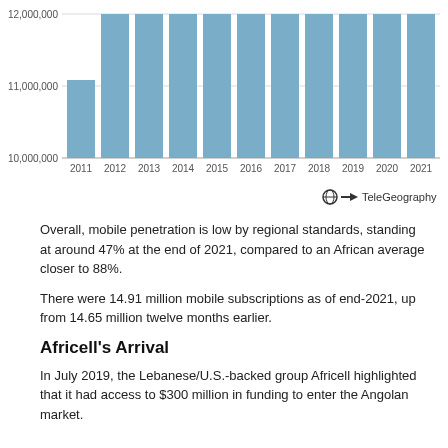[Figure (bar-chart): ]
Overall, mobile penetration is low by regional standards, standing at around 47% at the end of 2021, compared to an African average closer to 88%.
There were 14.91 million mobile subscriptions as of end-2021, up from 14.65 million twelve months earlier.
Africell's Arrival
In July 2019, the Lebanese/U.S.-backed group Africell highlighted that it had access to $300 million in funding to enter the Angolan market.